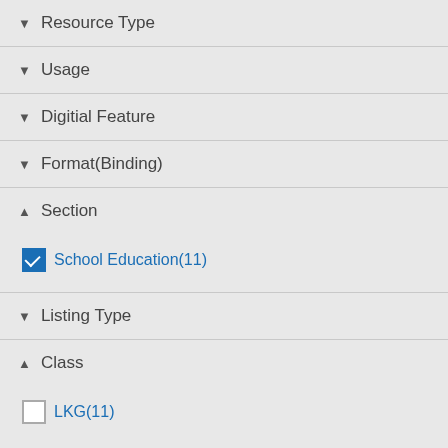▼ Resource Type
▼ Usage
▼ Digitial Feature
▼ Format(Binding)
▲ Section
School Education(11)
▼ Listing Type
▲ Class
LKG(11)